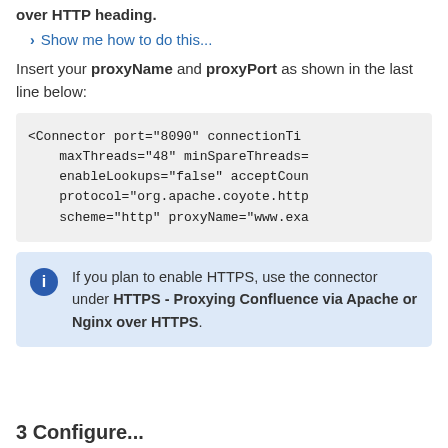over HTTP heading.
Show me how to do this...
Insert your proxyName and proxyPort as shown in the last line below:
[Figure (screenshot): Code block showing XML connector configuration with attributes: port="8090" connectionTimeout, maxThreads="48" minSpareThreads, enableLookups="false" acceptCount, protocol="org.apache.coyote.http, scheme="http" proxyName="www.exa...]
If you plan to enable HTTPS, use the connector under HTTPS - Proxying Confluence via Apache or Nginx over HTTPS.
3 Configure...